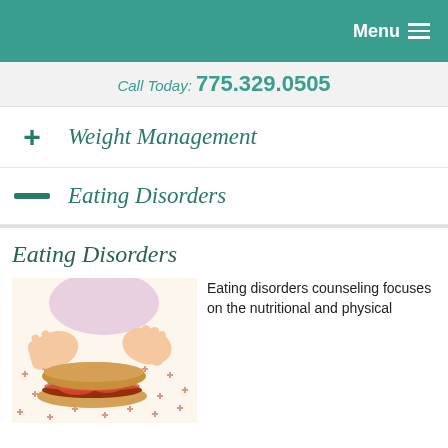Menu
Call Today: 775.329.0505
+ Weight Management
— Eating Disorders
Eating Disorders
[Figure (photo): Person pushing away a sandwich/food with both hands on a patterned tablecloth]
Eating disorders counseling focuses on the nutritional and physical